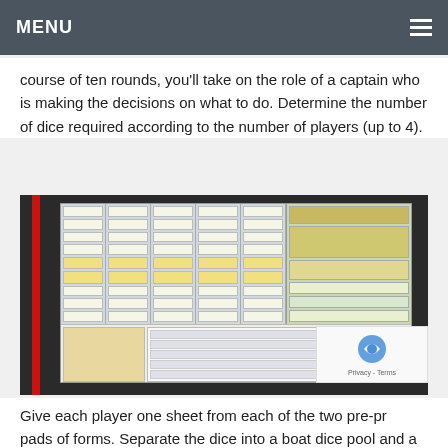MENU
course of ten rounds, you'll take on the role of a captain who is making the decisions on what to do. Determine the number of dice required according to the number of players (up to 4).
[Figure (photo): Photo of a board game spread open showing a game board with multiple columns of cards/spaces, yellow resource areas, and a right-side town/harbor map section, photographed on a dark textured surface with a red stripe on the left.]
Give each player one sheet from each of the two pre-printed pads of forms. Separate the dice into a boat dice pool and a